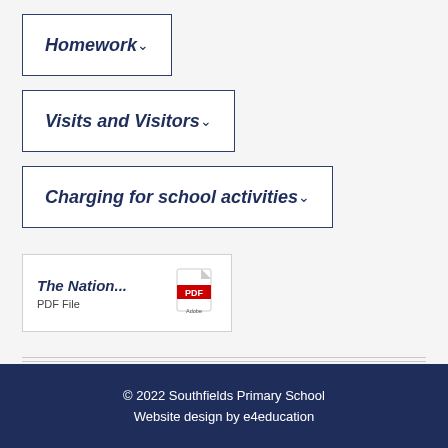Homework
Visits and Visitors
Charging for school activities
[Figure (other): PDF file card showing 'The Nation... PDF File' with an Adobe PDF icon]
© 2022 Southfields Primary School
Website design by e4education